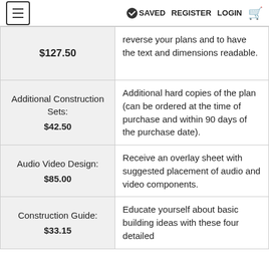≡  ✓SAVED  REGISTER  LOGIN  🛒
| Item / Price | Description |
| --- | --- |
| $127.50 | reverse your plans and to have the text and dimensions readable. |
| Additional Construction Sets:
$42.50 | Additional hard copies of the plan (can be ordered at the time of purchase and within 90 days of the purchase date). |
| Audio Video Design:
$85.00 | Receive an overlay sheet with suggested placement of audio and video components. |
| Construction Guide:
$33.15 | Educate yourself about basic building ideas with these four detailed... |